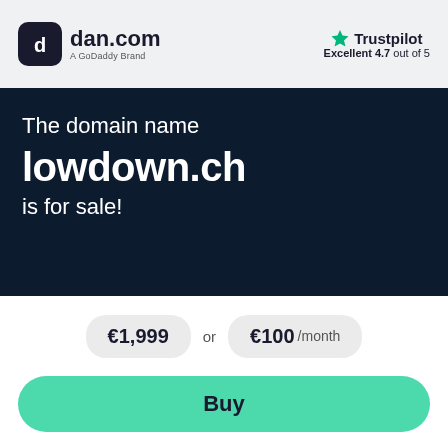[Figure (logo): dan.com logo - dark rounded square icon with stylized 'd' and 'c' letters, followed by 'dan.com' text and 'A GoDaddy Brand' subtitle]
[Figure (logo): Trustpilot logo with green star icon and 'Trustpilot' text, rating 'Excellent 4.7 out of 5']
The domain name lowdown.ch is for sale!
€1,999 or €100 /month
Buy